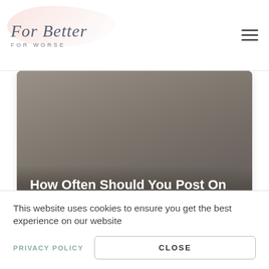For Better FOR WORSE
[Figure (photo): Dark grey-brown hero image card with overlaid title text: 'How Often Should You Post On Social Media In 2022?' and byline 'Wedding Hour Expert']
How Often Should You Post On Social Media In 2022?
Wedding Hour Expert
This website uses cookies to ensure you get the best experience on our website
PRIVACY POLICY
CLOSE